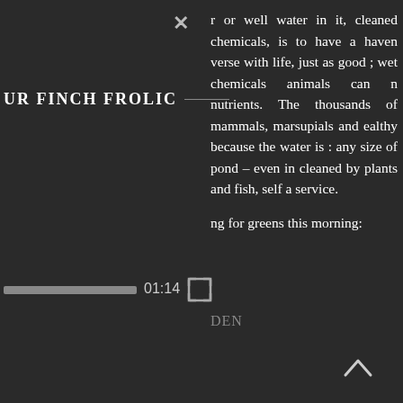[Figure (screenshot): Close button (×) UI element in top area]
UR FINCH FROLIC
[Figure (screenshot): Video progress bar showing position, timestamp 01:14, and fullscreen icon]
r or well water in it, cleaned chemicals, is to have a haven verse with life, just as good ; wet chemicals animals can n nutrients. The thousands of mammals, marsupials and ealthy because the water is : any size of pond – even in cleaned by plants and fish, self a service.
ng for greens this morning:
DEN
[Figure (screenshot): Chevron/up arrow UI navigation element]